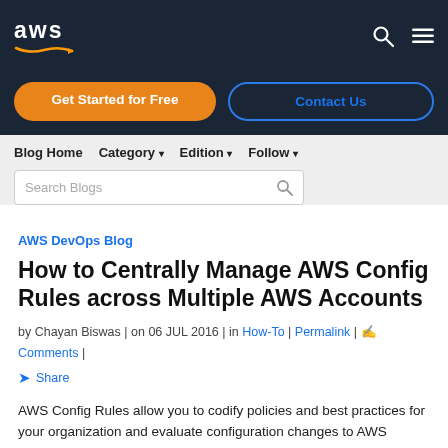aws
Get Started for Free
Contact Us
Blog Home   Category   Edition   Follow
Search Blogs
AWS DevOps Blog
How to Centrally Manage AWS Config Rules across Multiple AWS Accounts
by Chayan Biswas | on 06 JUL 2016 | in How-To | Permalink | Comments | Share
AWS Config Rules allow you to codify policies and best practices for your organization and evaluate configuration changes to AWS